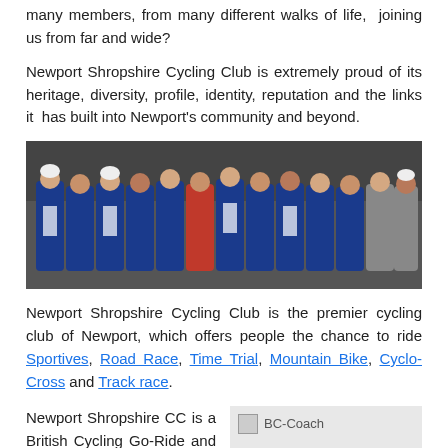many members, from many different walks of life,  joining us from far and wide?
Newport Shropshire Cycling Club is extremely proud of its heritage, diversity, profile, identity, reputation and the links it has built into Newport's community and beyond.
[Figure (photo): Group photo of Newport Shropshire Cycling Club members wearing blue club jerseys, posing together outdoors against a wall.]
Newport Shropshire Cycling Club is the premier cycling club of Newport, which offers people the chance to ride Sportives, Road Race, Time Trial, Mountain Bike, Cyclo-Cross and Track race.
Newport Shropshire CC is a British Cycling Go-Ride and Clubmark registered club. Over the years the club has
[Figure (photo): BC-Coach logo image placeholder shown as a grey box with broken image icon and text 'BC-Coach'.]